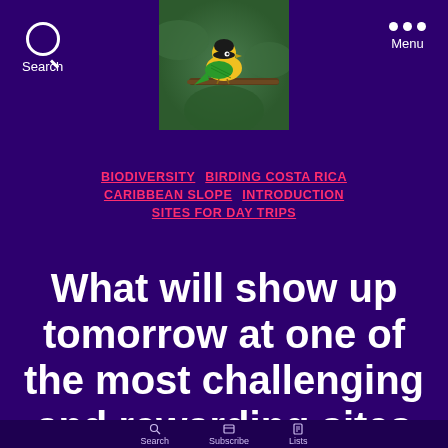Search | [bird photo] | Menu
[Figure (photo): A small yellow and black bird perched on a branch, photographed close-up against a blurred green background]
BIODIVERSITY   BIRDING COSTA RICA   CARIBBEAN SLOPE   INTRODUCTION   SITES FOR DAY TRIPS
What will show up tomorrow at one of the most challenging and rewarding sites when birding Costa Rica?
bottom navigation bar